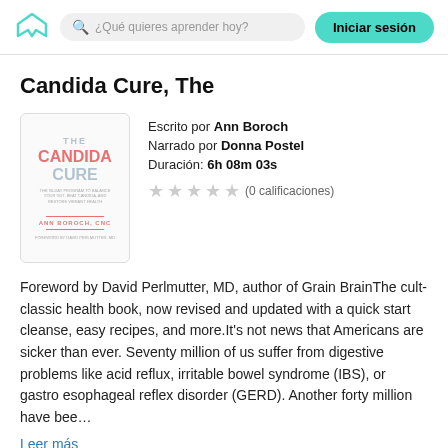¿Qué quieres aprender hoy? Iniciar sesión
Candida Cure, The
[Figure (illustration): Book cover for 'The Candida Cure' by Ann Boroch, showing title in teal and pink lettering on a white background]
Escrito por Ann Boroch
Narrado por Donna Postel
Duración: 6h 08m 03s
(0 calificaciones)
Foreword by David Perlmutter, MD, author of Grain BrainThe cult-classic health book, now revised and updated with a quick start cleanse, easy recipes, and more.It's not news that Americans are sicker than ever. Seventy million of us suffer from digestive problems like acid reflux, irritable bowel syndrome (IBS), or gastro esophageal reflex disorder (GERD). Another forty million have bee…
Leer más